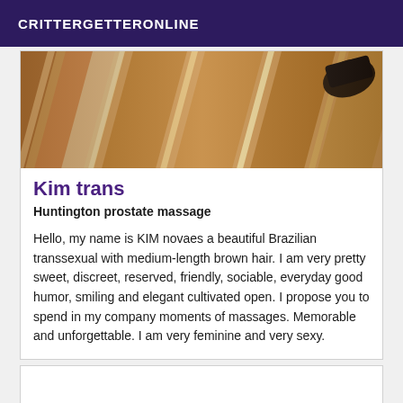CRITTERGETTERONLINE
[Figure (photo): Close-up photo of wooden surfaces and what appears to be a dark shoe or heel in the upper right corner]
Kim trans
Huntington prostate massage
Hello, my name is KIM novaes a beautiful Brazilian transsexual with medium-length brown hair. I am very pretty sweet, discreet, reserved, friendly, sociable, everyday good humor, smiling and elegant cultivated open. I propose you to spend in my company moments of massages. Memorable and unforgettable. I am very feminine and very sexy.